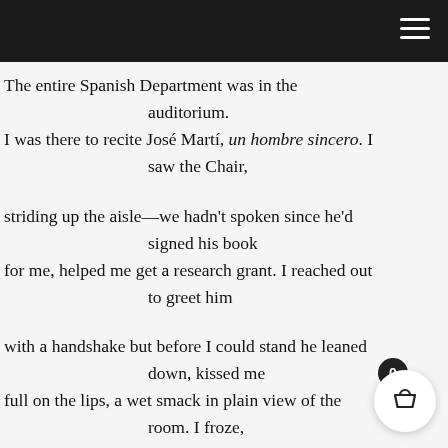The entire Spanish Department was in the auditorium.
I was there to recite José Martí, un hombre sincero. I saw the Chair,

striding up the aisle—we hadn't spoken since he'd signed his book
for me, helped me get a research grant. I reached out to greet him

with a handshake but before I could stand he leaned down, kissed me
full on the lips, a wet smack in plain view of the room. I froze,